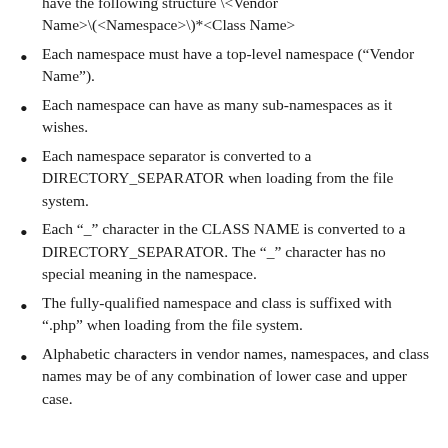have the following structure \<Vendor Name>\(<Namespace>\)*<Class Name>
Each namespace must have a top-level namespace ("Vendor Name").
Each namespace can have as many sub-namespaces as it wishes.
Each namespace separator is converted to a DIRECTORY_SEPARATOR when loading from the file system.
Each "_" character in the CLASS NAME is converted to a DIRECTORY_SEPARATOR. The "_" character has no special meaning in the namespace.
The fully-qualified namespace and class is suffixed with ".php" when loading from the file system.
Alphabetic characters in vendor names, namespaces, and class names may be of any combination of lower case and upper case.